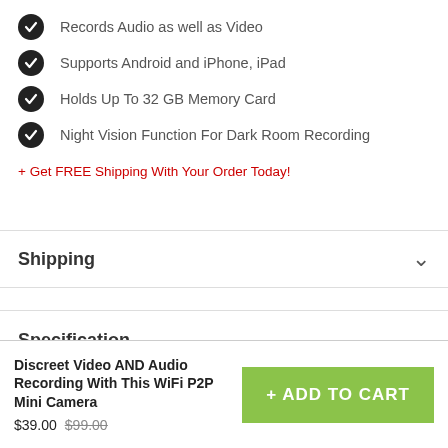Records Audio as well as Video
Supports Android and iPhone, iPad
Holds Up To 32 GB Memory Card
Night Vision Function For Dark Room Recording
+ Get FREE Shipping With Your Order Today!
Shipping
Specification
Discreet Video AND Audio Recording With This WiFi P2P Mini Camera
$39.00 $99.00
+ ADD TO CART